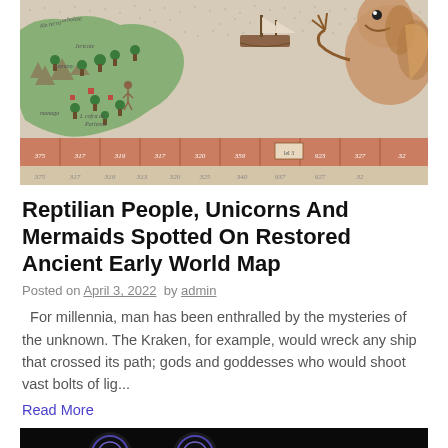[Figure (illustration): Restored ancient world map showing fantastical creatures including a large beast with claws on the right side, a sailing ship, green landmasses with trees and settlements labeled in old script, and a horizontal reddish-orange grid/scale band across the middle-lower portion with numbered segments.]
Reptilian People, Unicorns And Mermaids Spotted On Restored Ancient Early World Map
Posted on April 3, 2022  by admin
For millennia, man has been enthralled by the mysteries of the unknown. The Kraken, for example, would wreck any ship that crossed its path; gods and goddesses who would shoot vast bolts of lig...
Read More
[Figure (photo): Dark image showing glowing circular eyes (possibly an animal or creature) against a black background, partially visible at bottom of page.]